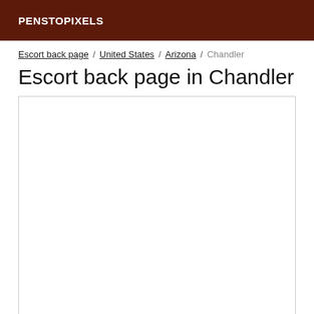PENSTOPIXELS
Escort back page / United States / Arizona / Chandler
Escort back page in Chandler
[Figure (other): Empty white content box with border]